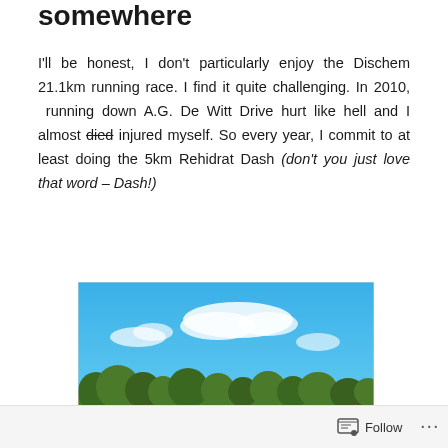somewhere
I'll be honest, I don't particularly enjoy the Dischem 21.1km running race. I find it quite challenging. In 2010, running down A.G. De Witt Drive hurt like hell and I almost died injured myself. So every year, I commit to at least doing the 5km Rehidrat Dash (don't you just love that word – Dash!)
[Figure (photo): Outdoor event scene with white marquee tents, green Dischem branded banners, trees and blue sky with clouds in the background.]
Follow ...